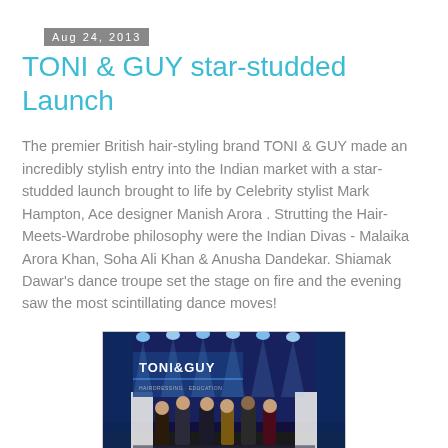Aug 24, 2013
TONI & GUY star-studded Launch
The premier British hair-styling brand TONI & GUY made an incredibly stylish entry into the Indian market with a star-studded launch brought to life by Celebrity stylist Mark Hampton, Ace designer Manish Arora . Strutting the Hair-Meets-Wardrobe philosophy were the Indian Divas - Malaika Arora Khan, Soha Ali Khan & Anusha Dandekar. Shiamak Dawar's dance troupe set the stage on fire and the evening saw the most scintillating dance moves!
[Figure (photo): Group photo on a blue-lit stage with TONI&GUY branding in the background. Several people standing on stage with spotlights overhead.]